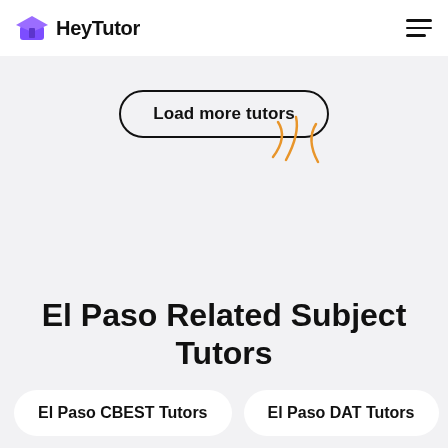HeyTutor
Load more tutors
El Paso Related Subject Tutors
El Paso CBEST Tutors
El Paso DAT Tutors